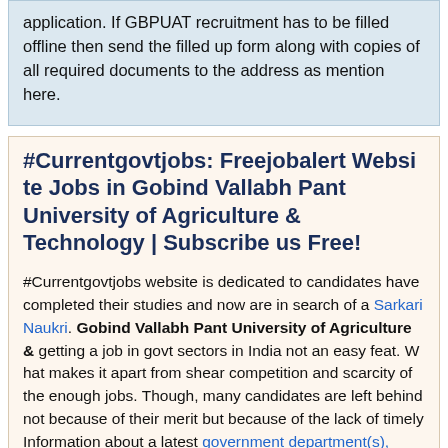application. If GBPUAT recruitment has to be filled offline then send the filled up form along with copies of all required documents to the address as mention here.
#Currentgovtjobs: Freejobalert Website Jobs in Gobind Vallabh Pant University of Agriculture & Technology | Subscribe us Free!
#Currentgovtjobs website is dedicated to candidates have completed their studies and now are in search of a Sarkari Naukri. Gobind Vallabh Pant University of Agriculture & Technology getting a job in govt sectors in India not an easy feat. What makes it apart from shear competition and scarcity of the enough jobs. Though, many candidates are left behind not because of their merit but because of the lack of timely Information about a latest government department(s), such as Gobind Vallabh